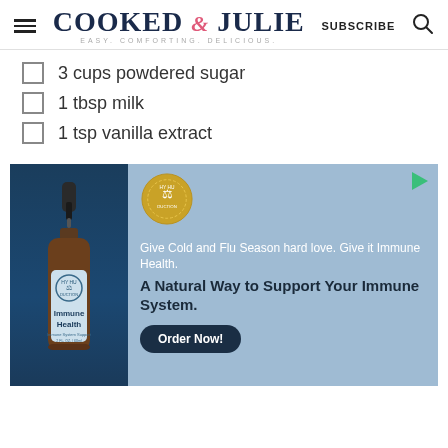COOKED by JULIE — SUBSCRIBE
3 cups powdered sugar
1 tbsp milk
1 tsp vanilla extract
[Figure (infographic): Advertisement for Immune Health supplement. Shows a dark amber dropper bottle labeled Immune Health with a blue label. Golden badge with shield logo. Text: Give Cold and Flu Season hard love. Give it Immune Health. A Natural Way to Support Your Immune System. Order Now! button.]